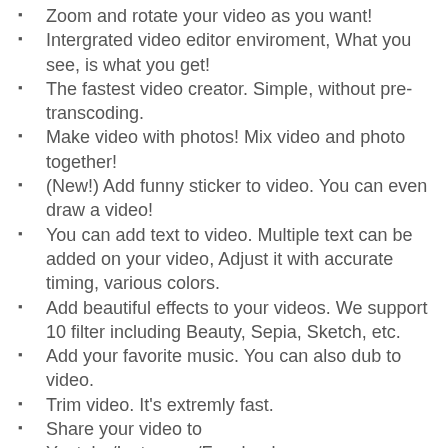Zoom and rotate your video as you want!
Intergrated video editor enviroment, What you see, is what you get!
The fastest video creator. Simple, without pre-transcoding.
Make video with photos! Mix video and photo together!
(New!) Add funny sticker to video. You can even draw a video!
You can add text to video. Multiple text can be added on your video, Adjust it with accurate timing, various colors.
Add beautiful effects to your videos. We support 10 filter including Beauty, Sepia, Sketch, etc.
Add your favorite music. You can also dub to video.
Trim video. It's extremly fast.
Share your video to Youtube/Instagram/Facebook.
We are not perfect, but we are we are working hard every day to make it better. Thanks for your support!